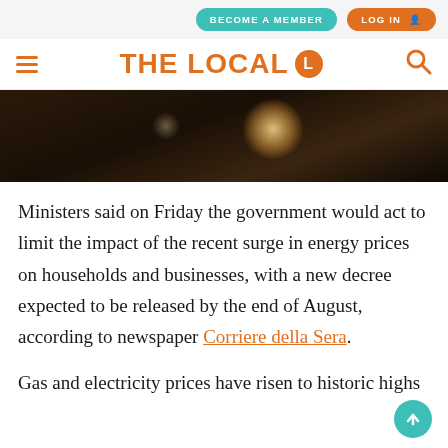BECOME A MEMBER | LOG IN
THE LOCAL
[Figure (photo): Dark blurred photo, likely an interior scene with a warm glowing light source in the background]
Ministers said on Friday the government would act to limit the impact of the recent surge in energy prices on households and businesses, with a new decree expected to be released by the end of August, according to newspaper Corriere della Sera.
Gas and electricity prices have risen to historic highs